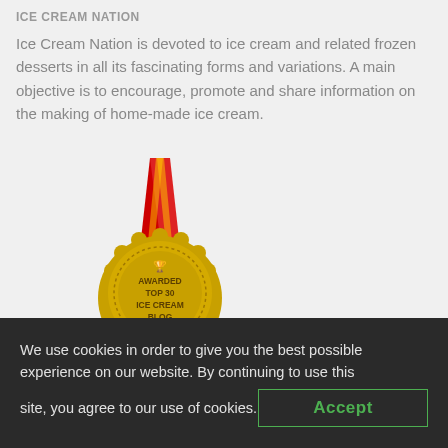ICE CREAM NATION
Ice Cream Nation is devoted to ice cream and related frozen desserts in all its fascinating forms and variations. A main objective is to encourage, promote and share information on the making of home-made ice cream.
[Figure (illustration): Gold award medal with red ribbon, text: AWARDED TOP 30 ICE CREAM BLOG]
We use cookies in order to give you the best possible experience on our website. By continuing to use this site, you agree to our use of cookies.
Accept